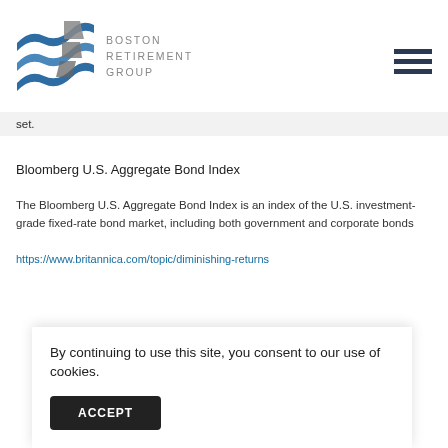[Figure (logo): Boston Retirement Group logo with blue wave graphic and gray text spelling BOSTON RETIREMENT GROUP]
set.
Bloomberg U.S. Aggregate Bond Index
The Bloomberg U.S. Aggregate Bond Index is an index of the U.S. investment-grade fixed-rate bond market, including both government and corporate bonds
https://www.britannica.com/topic/diminishing-returns
By continuing to use this site, you consent to our use of cookies.
ACCEPT